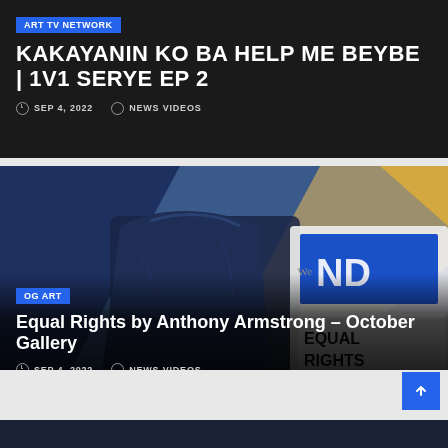ART TV NETWORK
KAKAYANIN KO BA HELP ME BEYBE | 1V1 SERYE EP 2
SEP 4, 2022  NEWS VIDEOS
[Figure (photo): Painting showing a figure from behind holding protest signs including 'Equal Rights' sign, with colorful abstract background]
OG ART
Equal Rights by Anthony Armstrong – October Gallery
SEP 4, 2022  NEWS VIDEOS